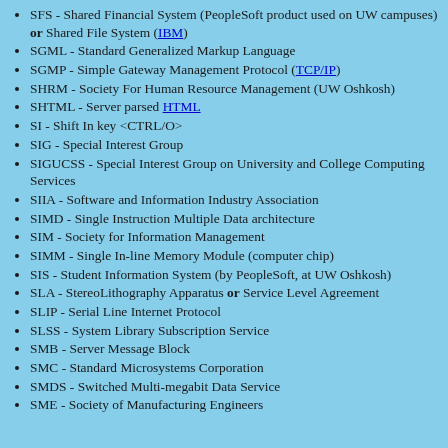SFS - Shared Financial System (PeopleSoft product used on UW campuses) or Shared File System (IBM)
SGML - Standard Generalized Markup Language
SGMP - Simple Gateway Management Protocol (TCP/IP)
SHRM - Society For Human Resource Management (UW Oshkosh)
SHTML - Server parsed HTML
SI - Shift In key <CTRL/O>
SIG - Special Interest Group
SIGUCSS - Special Interest Group on University and College Computing Services
SIIA - Software and Information Industry Association
SIMD - Single Instruction Multiple Data architecture
SIM - Society for Information Management
SIMM - Single In-line Memory Module (computer chip)
SIS - Student Information System (by PeopleSoft, at UW Oshkosh)
SLA - StereoLithography Apparatus or Service Level Agreement
SLIP - Serial Line Internet Protocol
SLSS - System Library Subscription Service
SMB - Server Message Block
SMC - Standard Microsystems Corporation
SMDS - Switched Multi-megabit Data Service
SME - Society of Manufacturing Engineers